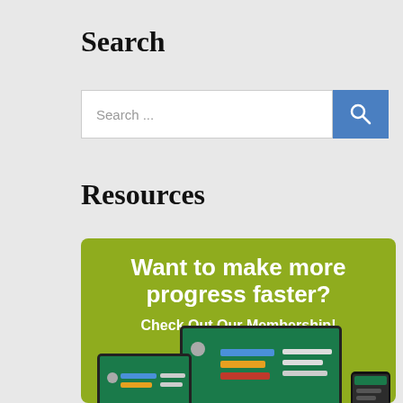Search
[Figure (screenshot): Search input bar with placeholder text 'Search ...' and a blue search button with magnifying glass icon]
Resources
[Figure (infographic): Green banner advertisement reading 'Want to make more progress faster? Check Out Our Membership!' with device screenshots (laptop, tablet, phone) showing a membership platform interface]